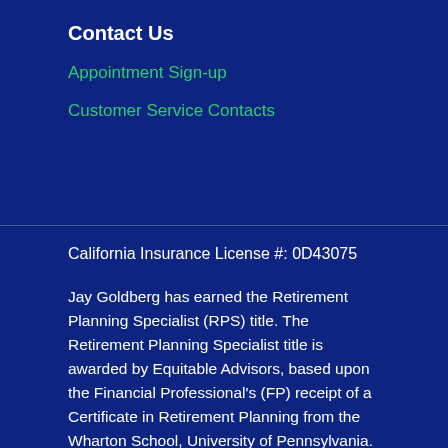Contact Us
Appointment Sign-up
Customer Service Contacts
California Insurance License #: 0D43075
Jay Goldberg has earned the Retirement Planning Specialist (RPS) title. The Retirement Planning Specialist title is awarded by Equitable Advisors, based upon the Financial Professional's (FP) receipt of a Certificate in Retirement Planning from the Wharton School, University of Pennsylvania. In a collaboration between the Wharton School and Equitable Advisors' affiliated life insurance